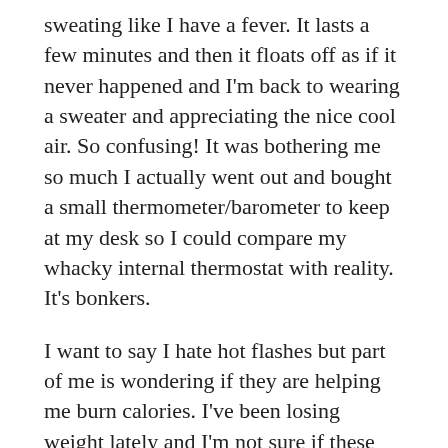sweating like I have a fever. It lasts a few minutes and then it floats off as if it never happened and I'm back to wearing a sweater and appreciating the nice cool air. So confusing! It was bothering me so much I actually went out and bought a small thermometer/barometer to keep at my desk so I could compare my whacky internal thermostat with reality. It's bonkers.
I want to say I hate hot flashes but part of me is wondering if they are helping me burn calories. I've been losing weight lately and I'm not sure if these flashes are it or one of the other twelve things I've been doing differently lately.  I'm sure if hot flashes do burn calories it's only 2 calories a hit but hey! it sure helps to imagine that is what is going on when you in the thick of a sweaty cloud and hating life.  I hot people would actually sign up for these stupid